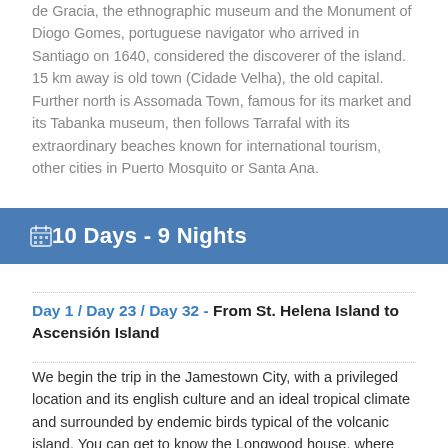de Gracia, the ethnographic museum and the Monument of Diogo Gomes, portuguese navigator who arrived in Santiago on 1640, considered the discoverer of the island. 15 km away is old town (Cidade Velha), the old capital. Further north is Assomada Town, famous for its market and its Tabanka museum, then follows Tarrafal with its extraordinary beaches known for international tourism, other cities in Puerto Mosquito or Santa Ana.
10 Days - 9 Nights
Day 1 / Day 23 / Day 32 - From St. Helena Island to Ascensión Island
We begin the trip in the Jamestown City, with a privileged location and its english culture and an ideal tropical climate and surrounded by endemic birds typical of the volcanic island. You can get to know the Longwood house, where Napoleon died in 1821, you can also ascend the 699 steps of Jacob's ladder. If we have more time you can go for walks